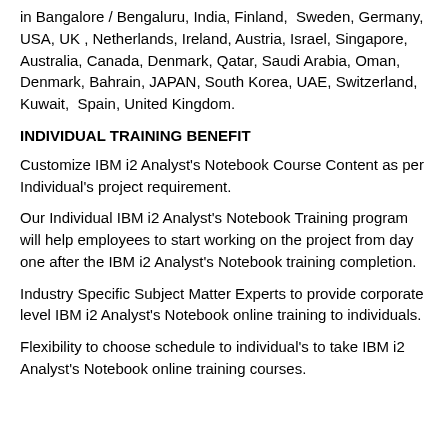in Bangalore / Bengaluru, India, Finland,  Sweden, Germany, USA, UK , Netherlands, Ireland, Austria, Israel, Singapore, Australia, Canada, Denmark, Qatar, Saudi Arabia, Oman, Denmark, Bahrain, JAPAN, South Korea, UAE, Switzerland, Kuwait,  Spain, United Kingdom.
INDIVIDUAL TRAINING BENEFIT
Customize IBM i2 Analyst's Notebook Course Content as per Individual's project requirement.
Our Individual IBM i2 Analyst's Notebook Training program will help employees to start working on the project from day one after the IBM i2 Analyst's Notebook training completion.
Industry Specific Subject Matter Experts to provide corporate level IBM i2 Analyst's Notebook online training to individuals.
Flexibility to choose schedule to individual's to take IBM i2 Analyst's Notebook online training courses.